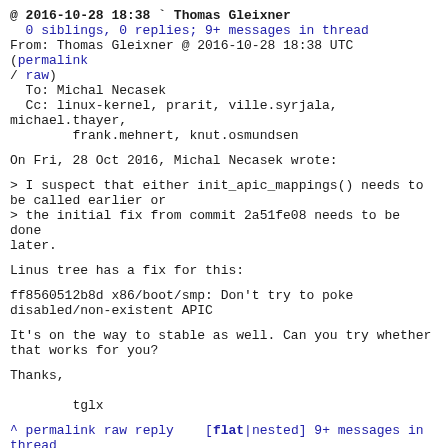@ 2016-10-28 18:38 ` Thomas Gleixner
  0 siblings, 0 replies; 9+ messages in thread
From: Thomas Gleixner @ 2016-10-28 18:38 UTC (permalink / raw)
  To: Michal Necasek
  Cc: linux-kernel, prarit, ville.syrjala, michael.thayer,
        frank.mehnert, knut.osmundsen
On Fri, 28 Oct 2016, Michal Necasek wrote:
> I suspect that either init_apic_mappings() needs to be called earlier or
> the initial fix from commit 2a51fe08 needs to be done later.
Linus tree has a fix for this:
ff8560512b8d x86/boot/smp: Don't try to poke disabled/non-existent APIC
It's on the way to stable as well. Can you try whether that works for you?
Thanks,

        tglx
^ permalink raw reply   [flat|nested] 9+ messages in thread